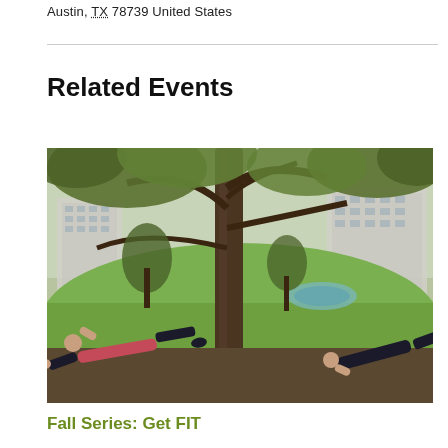Austin, TX 78739 United States
[Figure (photo): Outdoor fitness class in a park, people doing push-ups near a large oak tree with a fountain and building in the background]
Related Events
Fall Series: Get FIT